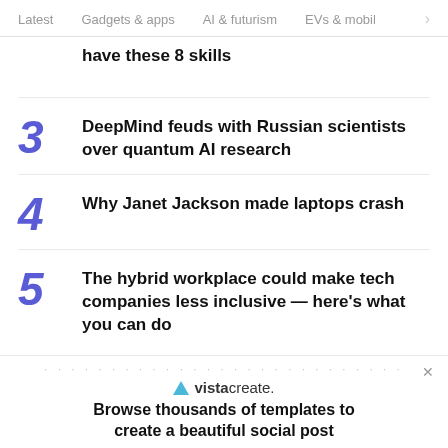Latest  Gadgets & apps  AI & futurism  EVs & mobil >
have these 8 skills
3  DeepMind feuds with Russian scientists over quantum AI research
4  Why Janet Jackson made laptops crash
5  The hybrid workplace could make tech companies less inclusive — here's what you can do
[Figure (other): Advertisement banner for vistacreate with text: Browse thousands of templates to create a beautiful social post]